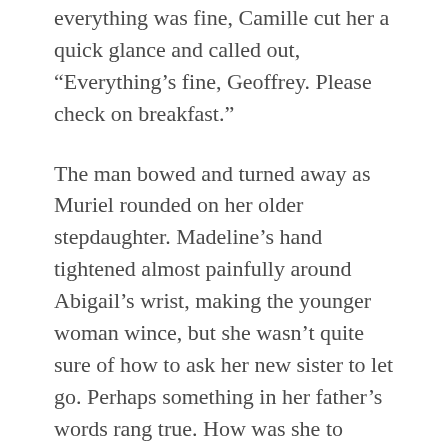Before Abigail could smile and let him know everything was fine, Camille cut her a quick glance and called out, “Everything’s fine, Geoffrey. Please check on breakfast.”
The man bowed and turned away as Muriel rounded on her older stepdaughter. Madeline’s hand tightened almost painfully around Abigail’s wrist, making the younger woman wince, but she wasn’t quite sure of how to ask her new sister to let go. Perhaps something in her father’s words rang true. How was she to know how to properly talk to a person if she never left the manor unless forced? Madeline wasn’t paying her any attention, anyways.
“Let’s make one thing clear,” Muriel said, her soft